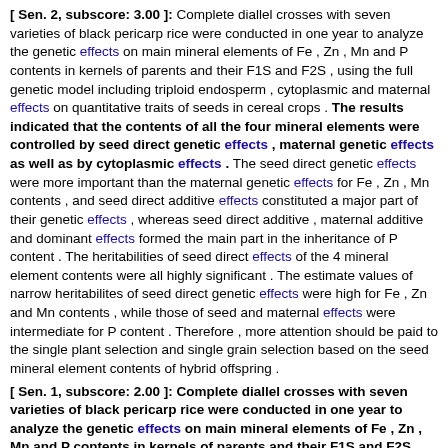[ Sen. 2, subscore: 3.00 ]: Complete diallel crosses with seven varieties of black pericarp rice were conducted in one year to analyze the genetic effects on main mineral elements of Fe , Zn , Mn and P contents in kernels of parents and their F1S and F2S , using the full genetic model including triploid endosperm , cytoplasmic and maternal effects on quantitative traits of seeds in cereal crops . The results indicated that the contents of all the four mineral elements were controlled by seed direct genetic effects , maternal genetic effects as well as by cytoplasmic effects . The seed direct genetic effects were more important than the maternal genetic effects for Fe , Zn , Mn contents , and seed direct additive effects constituted a major part of their genetic effects , whereas seed direct additive , maternal additive and dominant effects formed the main part in the inheritance of P content . The heritabilities of seed direct effects of the 4 mineral element contents were all highly significant . The estimate values of narrow heritabilites of seed direct genetic effects were high for Fe , Zn and Mn contents , while those of seed and maternal effects were intermediate for P content . Therefore , more attention should be paid to the single plant selection and single grain selection based on the seed mineral element contents of hybrid offspring .
[ Sen. 1, subscore: 2.00 ]: Complete diallel crosses with seven varieties of black pericarp rice were conducted in one year to analyze the genetic effects on main mineral elements of Fe , Zn , Mn and P contents in kernels of parents and their F1S and F2S , using the full genetic model including triploid endosperm , cytoplasmic and maternal effects on quantitative traits of seeds in cereal crops . The results indicated that the contents of all the four mineral elements were controlled by seed direct genetic effects , maternal genetic effects as well as by cytoplasmic effects . The seed direct genetic effects were more important than the maternal genetic effects for Fe , Zn , Mn